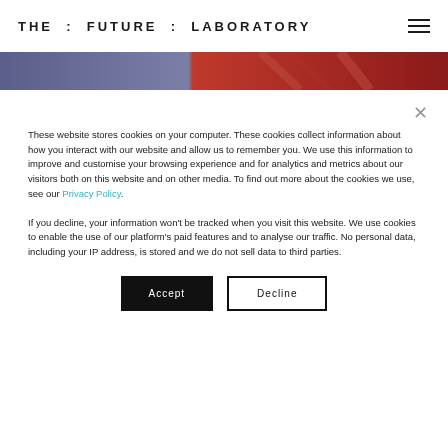THE : FUTURE : LABORATORY
[Figure (photo): Decorative banner with purple-blue and red gradient/draped fabric colors]
These website stores cookies on your computer. These cookies collect information about how you interact with our website and allow us to remember you. We use this information to improve and customise your browsing experience and for analytics and metrics about our visitors both on this website and on other media. To find out more about the cookies we use, see our Privacy Policy.
If you decline, your information won't be tracked when you visit this website. We use cookies to enable the use of our platform's paid features and to analyse our traffic. No personal data, including your IP address, is stored and we do not sell data to third parties.